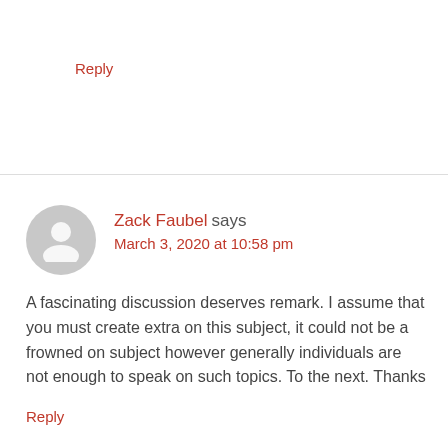Reply
Zack Faubel says
March 3, 2020 at 10:58 pm
A fascinating discussion deserves remark. I assume that you must create extra on this subject, it could not be a frowned on subject however generally individuals are not enough to speak on such topics. To the next. Thanks
Reply